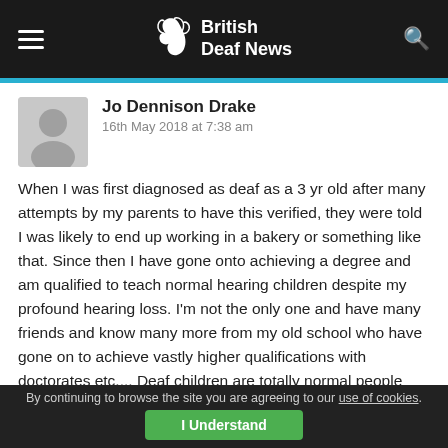British Deaf News
Jo Dennison Drake
16th May 2018 at 7:38 am
When I was first diagnosed as deaf as a 3 yr old after many attempts by my parents to have this verified, they were told I was likely to end up working in a bakery or something like that. Since then I have gone onto achieving a degree and am qualified to teach normal hearing children despite my profound hearing loss. I'm not the only one and have many friends and know many more from my old school who have gone on to achieve vastly higher qualifications with doctorates etc.... Deaf children are totally normal people with an irritation of being deaf. It doesn't mean they are brain dead or mentally retarded at all! They are only limited by other people's perceptions and expectations. Those with deaf
By continuing to browse the site you are agreeing to our use of cookies. I Understand